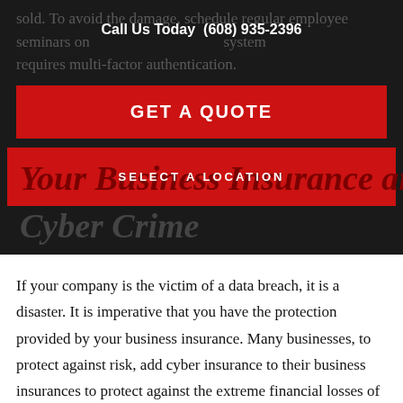sold. To avoid the damage, schedule regular employee seminars on your cyber security system requires multi-factor authentication.
Call Us Today (608) 935-2396
GET A QUOTE
Your Business Insurance and Cyber Crime
SELECT A LOCATION
If your company is the victim of a data breach, it is a disaster. It is imperative that you have the protection provided by your business insurance. Many businesses, to protect against risk, add cyber insurance to their business insurances to protect against the extreme financial losses of a data breach. You can speak with one of our local business insurance agents to discuss